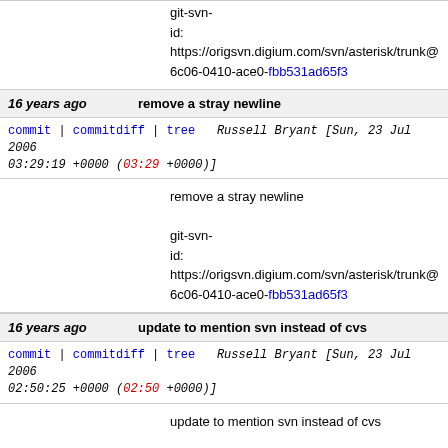git-svn-id: https://origsvn.digium.com/svn/asterisk/trunk@ 6c06-0410-ace0-fbb531ad65f3
16 years ago   remove a stray newline
commit | commitdiff | tree   Russell Bryant [Sun, 23 Jul 2006 03:29:19 +0000 (03:29 +0000)]
remove a stray newline

git-svn-id: https://origsvn.digium.com/svn/asterisk/trunk@ 6c06-0410-ace0-fbb531ad65f3
16 years ago   update to mention svn instead of cvs
commit | commitdiff | tree   Russell Bryant [Sun, 23 Jul 2006 02:50:25 +0000 (02:50 +0000)]
update to mention svn instead of cvs

git-svn-id: https://origsvn.digium.com/svn/asterisk/trunk@ 6c06-0410-ace0-fbb531ad65f3
16 years ago   various cleanups regarding coding